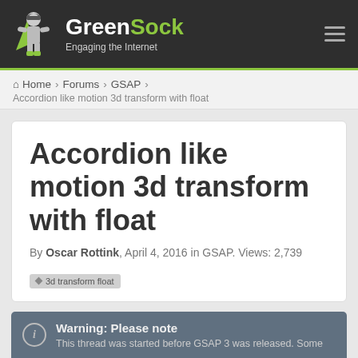[Figure (logo): GreenSock logo with superhero mascot and text 'GreenSock Engaging the Internet' on dark background with green accent bar]
Home > Forums > GSAP > Accordion like motion 3d transform with float
Accordion like motion 3d transform with float
By Oscar Rottink, April 4, 2016 in GSAP. Views: 2,739
3d transform float
Warning: Please note
This thread was started before GSAP 3 was released. Some